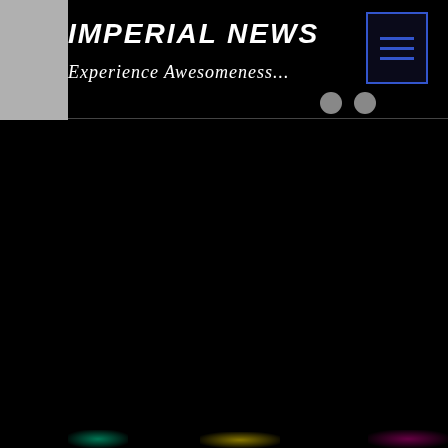IMPERIAL NEWS
Experience Awesomeness...
[Figure (other): Hamburger menu button with three blue horizontal lines inside a blue-bordered rectangle on black background]
[Figure (other): Dark website screenshot/UI with gray sidebar on left, black main area, two navigation dots, and faint colored blobs at bottom]